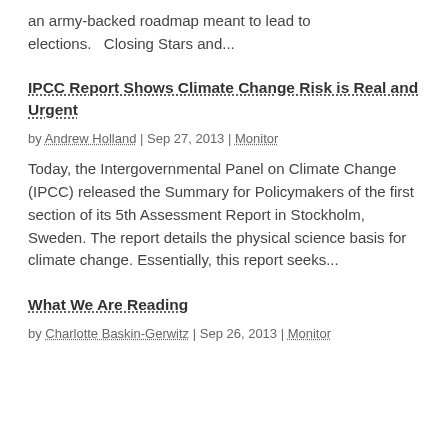an army-backed roadmap meant to lead to elections.   Closing Stars and...
IPCC Report Shows Climate Change Risk is Real and Urgent
by Andrew Holland | Sep 27, 2013 | Monitor
Today, the Intergovernmental Panel on Climate Change (IPCC) released the Summary for Policymakers of the first section of its 5th Assessment Report in Stockholm, Sweden. The report details the physical science basis for climate change. Essentially, this report seeks...
What We Are Reading
by Charlotte Baskin-Gerwitz | Sep 26, 2013 | Monitor